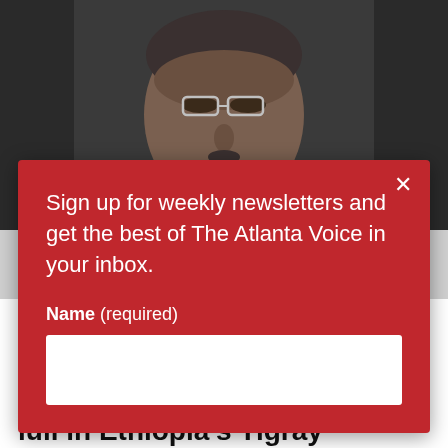[Figure (photo): Close-up photo of a man wearing glasses, dark skin tone, looking slightly upward, dark background]
Sign up for weekly newsletters and get the best of The Atlanta Voice in your inbox.
Name (required)
than 40 million
'Large-scale' fighting shatters lull in Ethiopia's Tigray